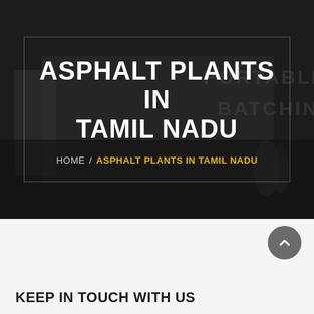[Figure (screenshot): Dark hero banner with industrial plant background image, showing a framed overlay box with page title and breadcrumb navigation]
ASPHALT PLANTS IN TAMIL NADU
HOME / ASPHALT PLANTS IN TAMIL NADU
KEEP IN TOUCH WITH US